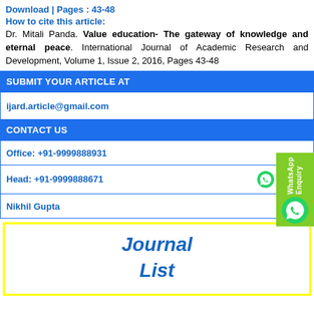Download  |  Pages : 43-48
How to cite this article:
Dr. Mitali Panda. Value education- The gateway of knowledge and eternal peace. International Journal of Academic Research and Development, Volume 1, Issue 2, 2016, Pages 43-48
SUBMIT YOUR ARTICLE AT
ijard.article@gmail.com
CONTACT US
Office: +91-9999888931
Head:  +91-9999888671
Nikhil Gupta
Journal
List